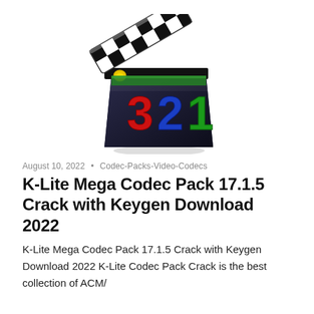[Figure (logo): K-Lite Codec Pack logo: a movie clapperboard with black and white checkered pattern on the clapper arm, dark body showing large colorful numbers 3 (red), 2 (blue), 1 (green), with a yellow hinge detail]
August 10, 2022 • Codec-Packs-Video-Codecs
K-Lite Mega Codec Pack 17.1.5 Crack with Keygen Download 2022
K-Lite Mega Codec Pack 17.1.5 Crack with Keygen Download 2022 K-Lite Codec Pack Crack is the best collection of ACM/